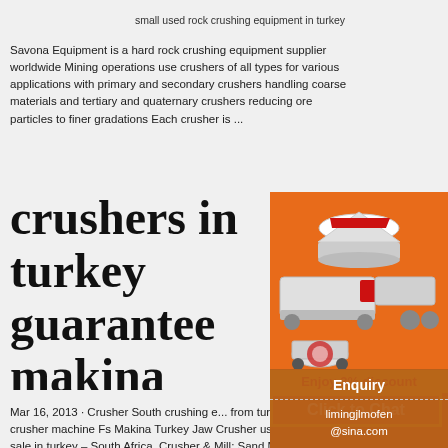small used rock crushing equipment in turkey
Savona Equipment is a hard rock crushing equipment supplier worldwide Mining operations use crushers of all types for various applications with primary and secondary crushers handling coarse materials and tertiary and quaternary crushers reducing ore particles to finer gradations Each crusher is ...
crushers in turkey guarantee makina crusher in turkey
[Figure (illustration): Orange advertisement panel showing crushing and mining machinery equipment images, a yellow discount bar reading 'Enjoy 3% discount', a chat button reading 'Click to Chat', an Enquiry button, and email limingjlmofen@sina.com]
Mar 16, 2013 · Crusher South crushing equipment from turkey. Turkey crusher machine Fs Makina Turkey Jaw Crusher used crusher for sale in turkey – South Africa. Crusher & Mill; Sand Making Ma... used crusher and mining equipments in turkey ... process crusher Our used crushers covers gu... terms with in 6.